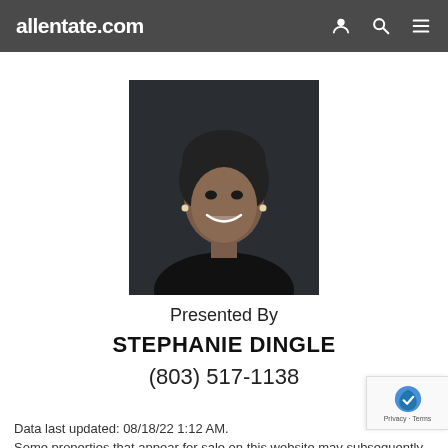allentate.com
[Figure (photo): Professional headshot of Stephanie Dingle, a woman wearing a black top, smiling, with short dark hair, against a dark background.]
Presented By
STEPHANIE DINGLE
(803) 517-1138
Data last updated: 08/18/22 1:12 AM. Some properties that appear for sale on this website may subsequently have been sold and may no longer be available. information provided is deemed reliable but is not guarantee should be independently verified. School assignments are sub change. Please consult with the appropriate school system for